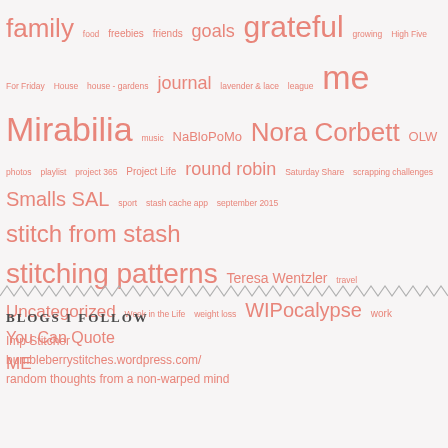[Figure (other): Tag cloud with blog/category tags in various sizes in salmon/coral color on light gray background. Tags include: family, food, freebies, friends, goals, grateful, growing, High Five For Friday, House, house-gardens, journal, lavender & lace, league, me, Mirabilia, music, NaBloPoMo, Nora Corbett, OLW, photos, playlist, project 365, Project Life, round robin, Saturday Share, scrapping challenges, Smalls SAL, sport, stash cache app, september 2015, stitch from stash, stitching patterns, Teresa Wentzler, travel, Uncategorized, Week in the Life, weight loss, WIPocalypse, work, You Can Quote ME]
[Figure (other): Zigzag/wavy decorative divider line in gray]
BLOGS I FOLLOW
Imp Stitcher
bumbleberrystitches.wordpress.com/
random thoughts from a non-warped mind